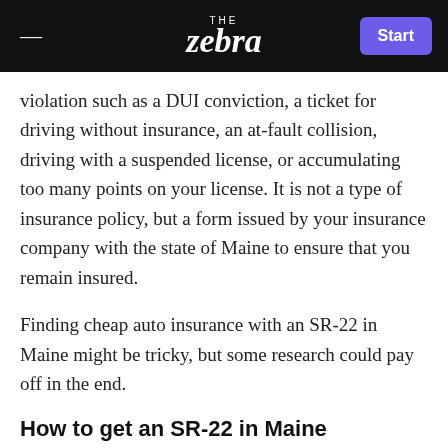THE zebra  Start
violation such as a DUI conviction, a ticket for driving without insurance, an at-fault collision, driving with a suspended license, or accumulating too many points on your license. It is not a type of insurance policy, but a form issued by your insurance company with the state of Maine to ensure that you remain insured.
Finding cheap auto insurance with an SR-22 in Maine might be tricky, but some research could pay off in the end.
How to get an SR-22 in Maine
An SR-22 is often required for drivers with serious